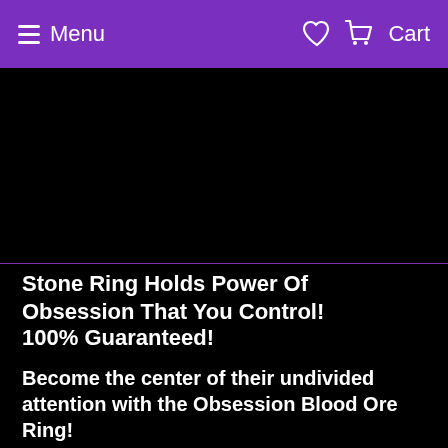Menu   Cart
[Figure (photo): Black image area (product image placeholder) with a purple/blue horizontal divider line at the bottom]
Stone Ring Holds Power Of Obsession That You Control!
100% Guaranteed!
Become the center of their undivided attention with the Obsession Blood Ore Ring!
Papa Crow would love the chance to imbue a Blood Ore Ring with powerful spell energy to create intense obsession in another for you. Blood Ore is a mineral